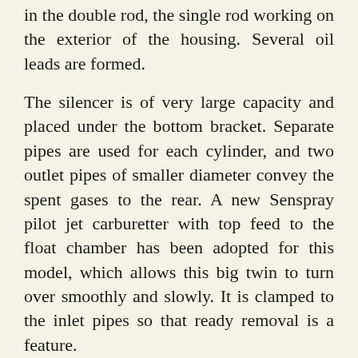in the double rod, the single rod working on the exterior of the housing. Several oil leads are formed.
The silencer is of very large capacity and placed under the bottom bracket. Separate pipes are used for each cylinder, and two outlet pipes of smaller diameter convey the spent gases to the rear. A new Senspray pilot jet carburetter with top feed to the float chamber has been adopted for this model, which allows this big twin to turn over smoothly and slowly. It is clamped to the inlet pipes so that ready removal is a feature.
The engine is started by pedals connected to the half time shaft in the